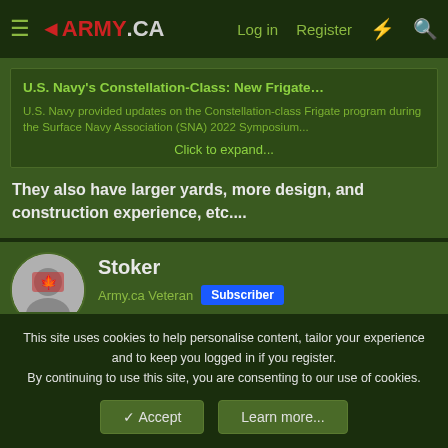1ARMY.CA  Log in  Register
U.S. Navy's Constellation-Class: New Frigate…
U.S. Navy provided updates on the Constellation-class Frigate program during the Surface Navy Association (SNA) 2022 Symposium...
Click to expand...
They also have larger yards, more design, and construction experience, etc....
Stoker
Army.ca Veteran  Subscriber
15 Jan 2022  #2,722
This site uses cookies to help personalise content, tailor your experience and to keep you logged in if you register.
By continuing to use this site, you are consenting to our use of cookies.
✓ Accept   Learn more...